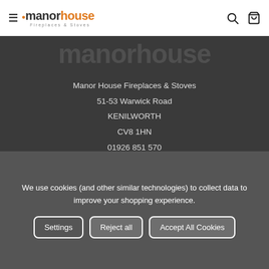manor house Fireplaces & Stoves
[Figure (logo): Manor House Fireplaces & Stoves logo with hamburger menu, orange dot, manor in dark text, house in orange, subtitle Fireplaces & Stoves, search icon and basket icon]
manorhouse
Manor House Fireplaces & Stoves
51-53 Warwick Road
KENILWORTH
CV8 1HN
01926 851 570
[Figure (illustration): Facebook and Instagram social media icons in white on dark background]
[Figure (logo): Two certification badge logos - a HETAS style badge and a SIA badge with checkmark]
We use cookies (and other similar technologies) to collect data to improve your shopping experience.
Settings | Reject all | Accept All Cookies